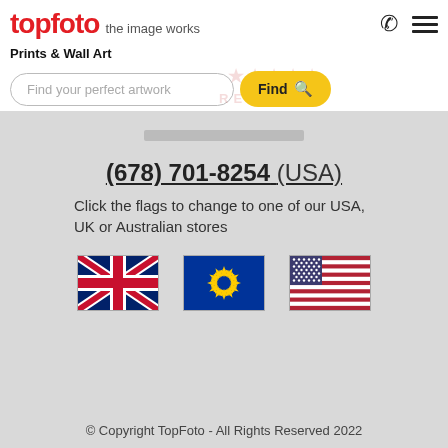topfoto the image works
Prints & Wall Art
Find your perfect artwork
(678) 701-8254 (USA)
Click the flags to change to one of our USA, UK or Australian stores
[Figure (illustration): Three national flags: UK Union Jack, European Union flag with stars, and USA Stars and Stripes]
© Copyright TopFoto - All Rights Reserved 2022